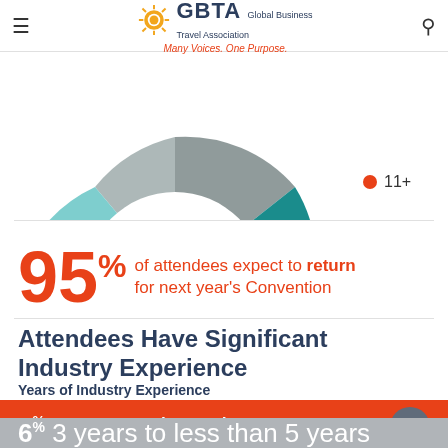GBTA Global Business Travel Association – Many Voices. One Purpose.
[Figure (donut-chart): Partial donut chart showing percentages: 23% (teal) and 20% (light blue), with legend item for 11+]
95% of attendees expect to return for next year's Convention
Attendees Have Significant Industry Experience
Years of Industry Experience
4% 1 year to less than 5 years
6% 3 years to less than 5 years